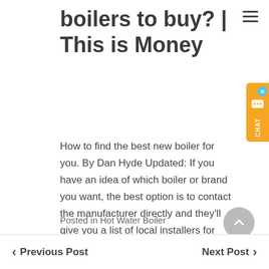boilers to buy? | This is Money
How to find the best new boiler for you. By Dan Hyde Updated: If you have an idea of which boiler or brand you want, the best option is to contact the manufacturer directly and they'll give you a list of local installers for their products.
Posted in Hot Water Boiler
Previous Post
Next Post